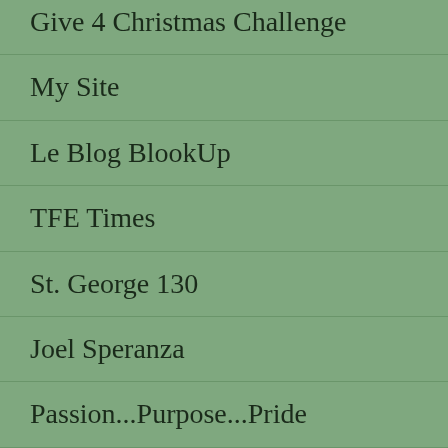Give 4 Christmas Challenge
My Site
Le Blog BlookUp
TFE Times
St. George 130
Joel Speranza
Passion...Purpose...Pride
The Creative 613